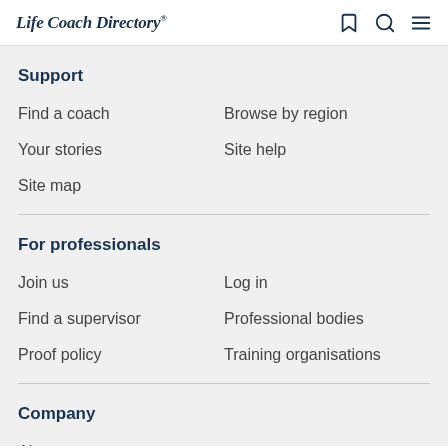Life Coach Directory
Support
Find a coach
Browse by region
Your stories
Site help
Site map
For professionals
Join us
Log in
Find a supervisor
Professional bodies
Proof policy
Training organisations
Company
About
Careers